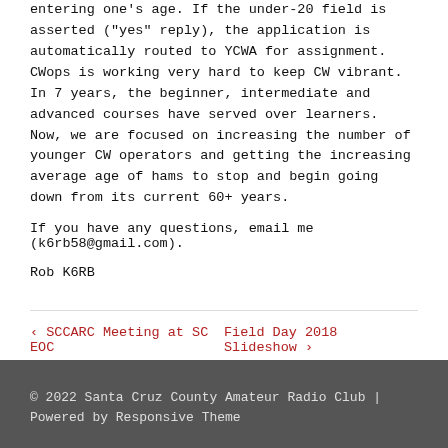entering one's age. If the under-20 field is asserted ("yes" reply), the application is automatically routed to YCWA for assignment. CWops is working very hard to keep CW vibrant. In 7 years, the beginner, intermediate and advanced courses have served over learners. Now, we are focused on increasing the number of younger CW operators and getting the increasing average age of hams to stop and begin going down from its current 60+ years.
If you have any questions, email me (k6rb58@gmail.com).
Rob K6RB
‹ SCCARC Meeting at SC EOC    Field Day 2018 Slideshow ›
© 2022 Santa Cruz County Amateur Radio Club | Powered by Responsive Theme